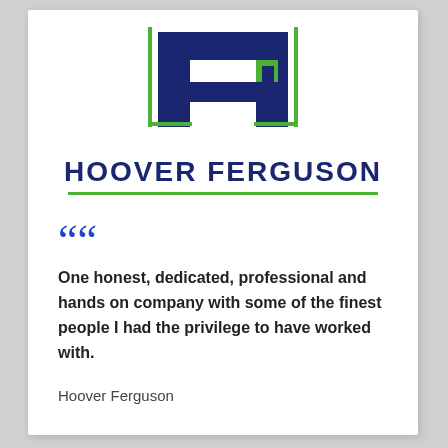[Figure (logo): Hoover Ferguson logo — interlocking H and F shapes in navy blue with green accents, above the text HOOVER FERGUSON in bold navy with a green underline]
““
One honest, dedicated, professional and hands on company with some of the finest people I had the privilege to have worked with.
Hoover Ferguson